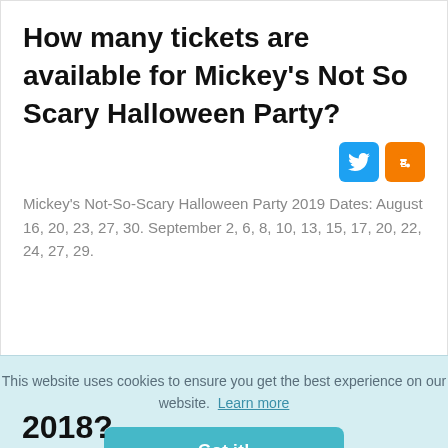How many tickets are available for Mickey's Not So Scary Halloween Party?
[Figure (other): Twitter and Blogger social share icons]
Mickey's Not-So-Scary Halloween Party 2019 Dates: August 16, 20, 23, 27, 30. September 2, 6, 8, 10, 13, 15, 17, 20, 22, 24, 27, 29.
This website uses cookies to ensure you get the best experience on our website.  Learn more
Got it!
2018?